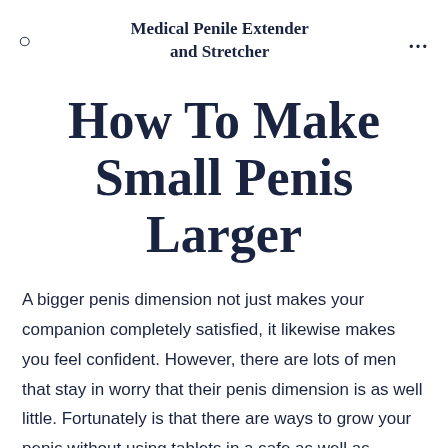Medical Penile Extender and Stretcher
How To Make Small Penis Larger
A bigger penis dimension not just makes your companion completely satisfied, it likewise makes you feel confident. However, there are lots of men that stay in worry that their penis dimension is as well little. Fortunately is that there are ways to grow your penis without using tablets in a safe as well as reliable means.